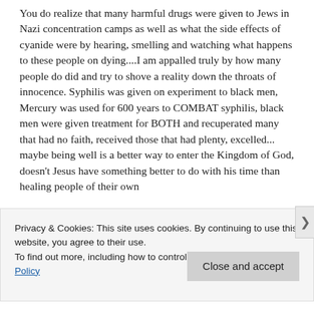You do realize that many harmful drugs were given to Jews in Nazi concentration camps as well as what the side effects of cyanide were by hearing, smelling and watching what happens to these people on dying....I am appalled truly by how many people do did and try to shove a reality down the throats of innocence. Syphilis was given on experiment to black men, Mercury was used for 600 years to COMBAT syphilis, black men were given treatment for BOTH and recuperated many that had no faith, received those that had plenty, excelled... maybe being well is a better way to enter the Kingdom of God, doesn't Jesus have something better to do with his time than healing people of their own
Privacy & Cookies: This site uses cookies. By continuing to use this website, you agree to their use.
To find out more, including how to control cookies, see here: Cookie Policy
Close and accept